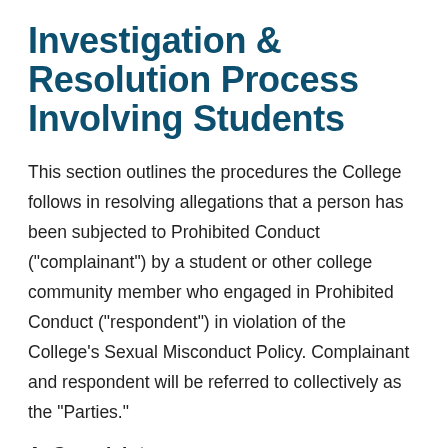Investigation & Resolution Process Involving Students
This section outlines the procedures the College follows in resolving allegations that a person has been subjected to Prohibited Conduct ("complainant") by a student or other college community member who engaged in Prohibited Conduct ("respondent") in violation of the College's Sexual Misconduct Policy. Complainant and respondent will be referred to collectively as the "Parties."
A. Complaint
An individual who wishes to report a complaint of Prohibited Conduct by a student (including, but not limited to discrimination, harassment, or retaliation) is